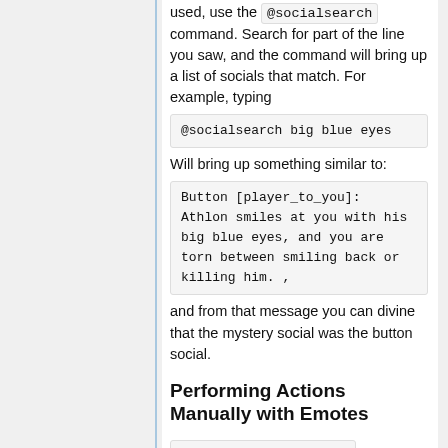used, use the @socialsearch command. Search for part of the line you saw, and the command will bring up a list of socials that match. For example, typing @socialsearch big blue eyes Will bring up something similar to:
Button [player_to_you]:
Athlon smiles at you with his big blue eyes, and you are torn between smiling back or killing him. ,
and from that message you can divine that the mystery social was the button social.
Performing Actions Manually with Emotes
Command: emote <text>
This command appends your name